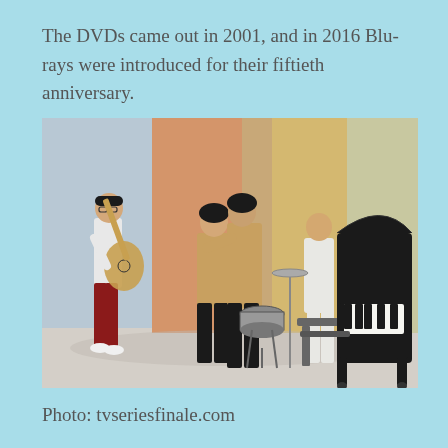The DVDs came out in 2001, and in 2016 Blu-rays were introduced for their fiftieth anniversary.
[Figure (photo): A band of four musicians performing on a colorful stage with pastel-colored vertical stripe backdrop (pale blue, orange/peach, and yellow). From left: a guitarist in white shirt and dark red flared trousers playing a hollow-body electric guitar; two singers/performers in the center wearing patterned outfits leaning together; and a pianist on the right in a white suit seated at a black grand piano with a small percussion set nearby.]
Photo: tvseriesfinale.com